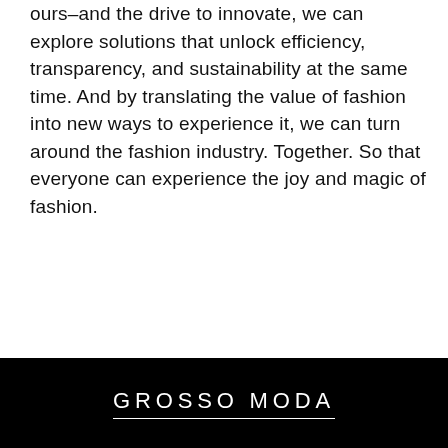ours–and the drive to innovate, we can explore solutions that unlock efficiency, transparency, and sustainability at the same time. And by translating the value of fashion into new ways to experience it, we can turn around the fashion industry. Together. So that everyone can experience the joy and magic of fashion.
GROSSO MODA